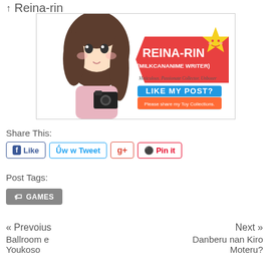Reina-rin
[Figure (illustration): Banner image for Reina-rin (MilkCanAnime Writer) showing an anime-style girl holding a camera, with text 'REINA-RIN (MILKCANANIME WRITER)', 'Meticulous. Passionate Collector. Unboxer', 'LIKE MY POST? Please share my Toy Collections.' and a yellow star character]
Share This:
Like  Tweet  g+  Pin it
Post Tags:
GAMES
« Prevoius
Ballroom e Youkoso
Next »
Danberu nan Kiro Moteru?